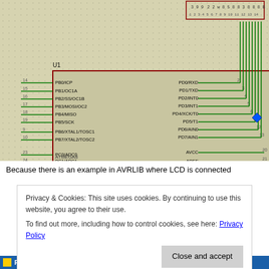[Figure (schematic): ATmega8 microcontroller schematic showing U1 chip connections. Pin labels include PB0/ICP through PB7/XTAL2/TOSC2, PC0/ADC0 through PC6/RESET, PD0/RXD through PD7/AIN1, AVCC, AREF. Pin numbers 14-19, 9-10, 23-28, 1, 2-13, 20-21. Connected to LCD header on the right. Component labeled ATMEGA8 with <TEXT> below.]
Because there is an example in AVRLIB where LCD is connected
Privacy & Cookies: This site uses cookies. By continuing to use this website, you agree to their use.
To find out more, including how to control cookies, see here: Privacy Policy
Programmers Notepad 2 – [lcd.c]